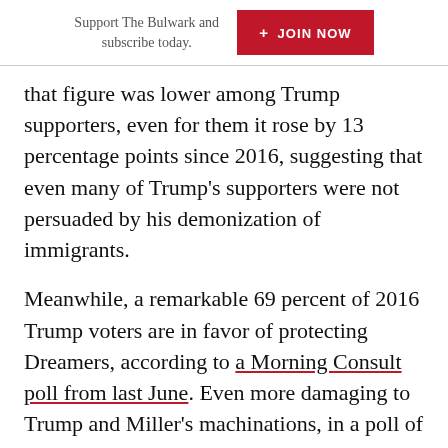Support The Bulwark and subscribe today. + JOIN NOW
that figure was lower among Trump supporters, even for them it rose by 13 percentage points since 2016, suggesting that even many of Trump's supporters were not persuaded by his demonization of immigrants.
Meanwhile, a remarkable 69 percent of 2016 Trump voters are in favor of protecting Dreamers, according to a Morning Consult poll from last June. Even more damaging to Trump and Miller's machinations, in a poll of voters conducted on election night 65 percent of respondents—including a majority of Republicans and of white